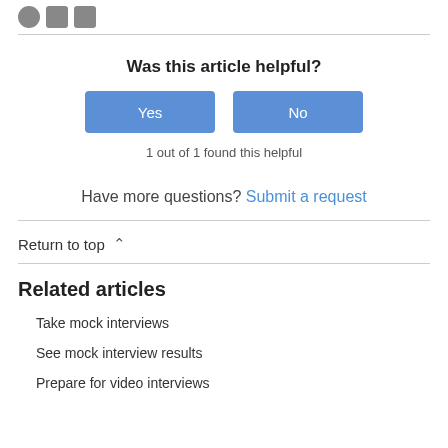[social icons: Facebook, Twitter, LinkedIn]
Was this article helpful?
Yes | No
1 out of 1 found this helpful
Have more questions? Submit a request
Return to top
Related articles
Take mock interviews
See mock interview results
Prepare for video interviews